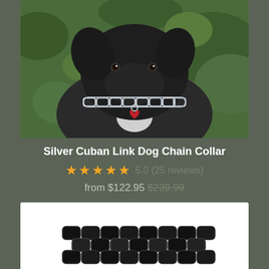[Figure (photo): Black dog wearing a silver Cuban link chain collar with a red heart-shaped tag, photographed against a green leafy background]
Silver Cuban Link Dog Chain Collar
5.0 (25 reviews)
from $122.95 $239.99
[Figure (photo): Black Cuban link chain collar product photo on white background]